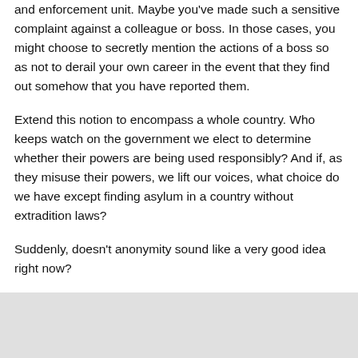and enforcement unit. Maybe you've made such a sensitive complaint against a colleague or boss. In those cases, you might choose to secretly mention the actions of a boss so as not to derail your own career in the event that they find out somehow that you have reported them.
Extend this notion to encompass a whole country. Who keeps watch on the government we elect to determine whether their powers are being used responsibly? And if, as they misuse their powers, we lift our voices, what choice do we have except finding asylum in a country without extradition laws?
Suddenly, doesn't anonymity sound like a very good idea right now?